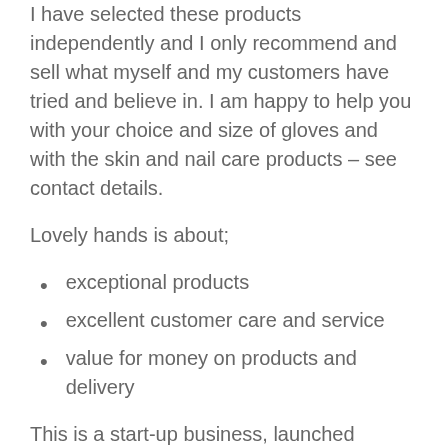I have selected these products independently and I only recommend and sell what myself and my customers have tried and believe in. I am happy to help you with your choice and size of gloves and with the skin and nail care products – see contact details.
Lovely hands is about;
exceptional products
excellent customer care and service
value for money on products and delivery
This is a start-up business, launched September 2017, lets reach out to all those who can benefit so there can be more lovely hands out there with happier people attached